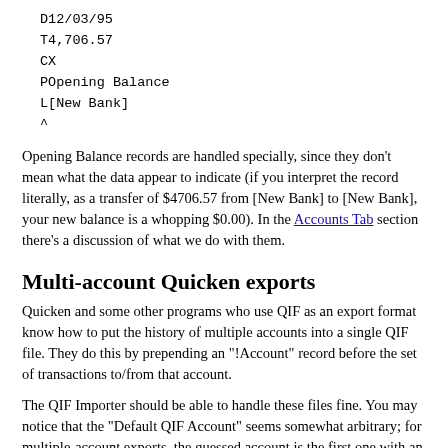D12/03/95
T4,706.57
CX
POpening Balance
L[New Bank]
^
Opening Balance records are handled specially, since they don't mean what the data appear to indicate (if you interpret the record literally, as a transfer of $4706.57 from [New Bank] to [New Bank], your new balance is a whopping $0.00). In the Accounts Tab section there's a discussion of what we do with them.
Multi-account Quicken exports
Quicken and some other programs who use QIF as an export format know how to put the history of multiple accounts into a single QIF file. They do this by prepending an "!Account" record before the set of transactions to/from that account.
The QIF Importer should be able to handle these files fine. You may notice that the "Default QIF Account" seems somewhat arbitrary; for multiple-account exports, the guessed account is the first one with an Opening Balance record. However, since Quicken